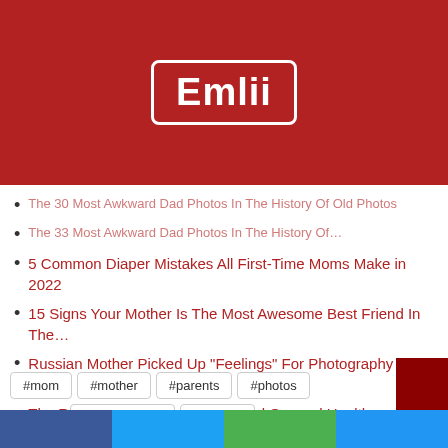[Figure (logo): Emlii logo — white text 'Emlii' in a white-bordered rounded rectangle on red background]
The 30 Most Awkward Dad Photos In The History Of Old Photos
The 33 Most Awkward Dad Photos In The History Of…
5 Common Diaper Mistakes All First-Time Moms Make in 2022
15 Signs Your Mother Is The Most Awesome Best Friend In The…
Russian Mother Picked Up "Feelings" For Photography And…
The Relationship Between Oral and General Health
#mom  #mother  #parents  #photos  #Relationship  #vintage